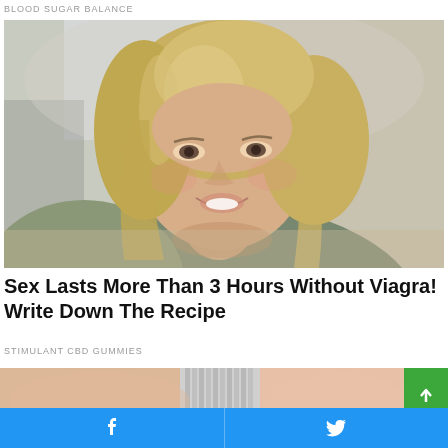BLOOD SUGAR BALANCE
[Figure (photo): Smiling middle-aged blonde woman leaning forward, photographed in a kitchen setting]
Sex Lasts More Than 3 Hours Without Viagra! Write Down The Recipe
STIMULANT CBD GUMMIES
[Figure (photo): Close-up of skin/body with a metal dental or medical device, partially cropped]
Facebook share button | Twitter share button